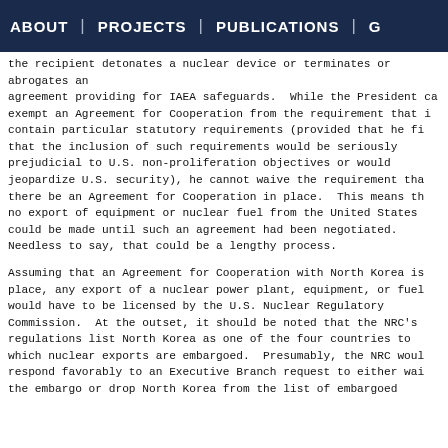ABOUT | PROJECTS | PUBLICATIONS | G
the recipient detonates a nuclear device or terminates or abrogates an agreement providing for IAEA safeguards. While the President ca exempt an Agreement for Cooperation from the requirement that i contain particular statutory requirements (provided that he fi that the inclusion of such requirements would be seriously prejudicial to U.S. non-proliferation objectives or would jeopardize U.S. security), he cannot waive the requirement tha there be an Agreement for Cooperation in place. This means th no export of equipment or nuclear fuel from the United States could be made until such an agreement had been negotiated. Needless to say, that could be a lengthy process.
Assuming that an Agreement for Cooperation with North Korea is place, any export of a nuclear power plant, equipment, or fuel would have to be licensed by the U.S. Nuclear Regulatory Commission. At the outset, it should be noted that the NRC's regulations list North Korea as one of the four countries to which nuclear exports are embargoed. Presumably, the NRC woul respond favorably to an Executive Branch request to either wai the embargo or drop North Korea from the list of embargoed